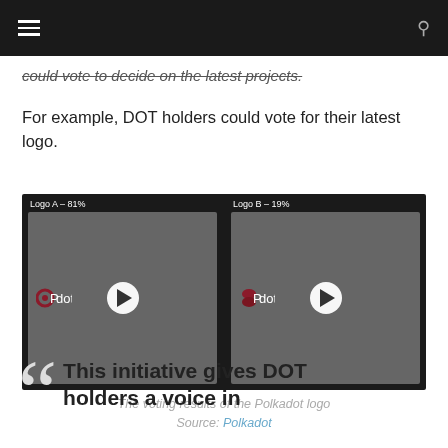could vote to decide on the latest projects.
For example, DOT holders could vote for their latest logo.
[Figure (screenshot): Screenshot showing Polkadot logo voting results: Logo A - 81% and Logo B - 19%, each shown as a video thumbnail with a play button and the Polkadot logo/text visible.]
The voting results of the Polkadot logo
Source: Polkadot
This initiative gives DOT holders a voice in